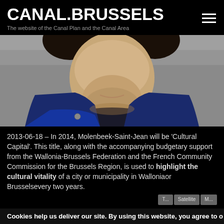CANAL.BRUSSELS
The website of the Canal Plan and the Canal Area
[Figure (photo): Close-up photo of a young man with curly dark hair, stubble beard, wearing a dark navy blue jacket, photographed outdoors against a grey background.]
2013-06-18 – In 2014, Molenbeek-Saint-Jean will be 'Cultural Capital'. This title, along with the accompanying budgetary support from the Wallonia-Brussels Federation and the French Community Commission for the Brussels Region, is used to highlight the cultural vitality of a city or municipality in Walloniaor Brusselsevery two years.
Cookies help us deliver our site. By using this website, you agree to o